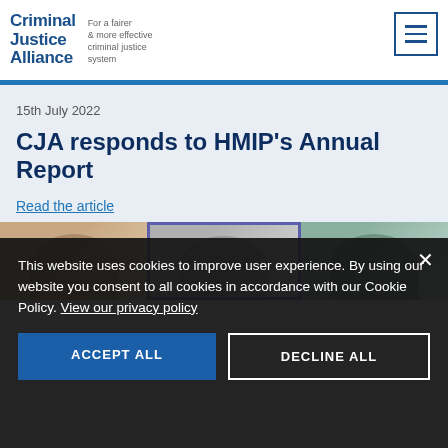Criminal Justice Alliance — For a fairer & more effective criminal justice system
15th July 2022
CJA responds to HMIP's Annual Report
Read the article
[Figure (photo): Three side-by-side photos showing people in what appear to be video call or office settings]
This website uses cookies to improve user experience. By using our website you consent to all cookies in accordance with our Cookie Policy. View our privacy policy